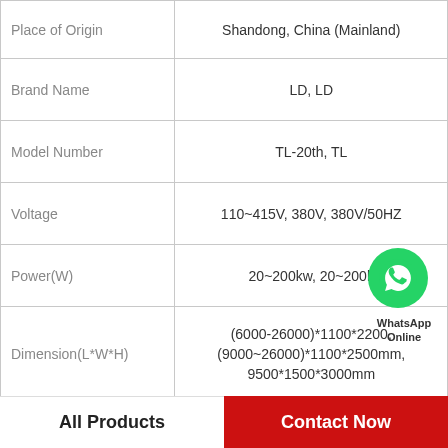| Property | Value |
| --- | --- |
| Place of Origin | Shandong, China (Mainland) |
| Brand Name | LD, LD |
| Model Number | TL-20th, TL |
| Voltage | 110~415V, 380V, 380V/50HZ |
| Power(W) | 20~200kw, 20~200k |
| Dimension(L*W*H) | (6000-26000)*1100*2200, (9000~26000)*1100*2500mm, 9500*1500*3000mm |
| Weight | 2~5T, 2t |
| Certification | CE ISO, CE ISO |
[Figure (logo): WhatsApp Online chat icon with green circle and phone handset, with text 'WhatsApp Online']
All Products   Contact Now